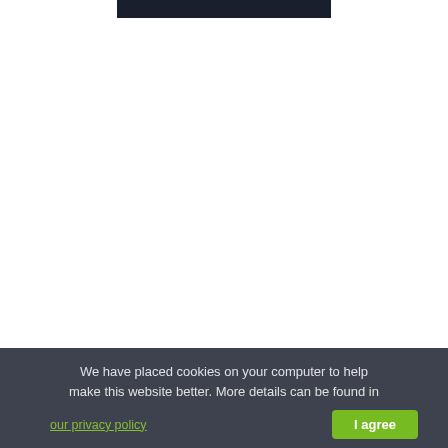[Figure (screenshot): Top dark navigation bar partially visible at the top of the page, cut off]
We have placed cookies on your computer to help make this website better. More details can be found in
our privacy policy
I agree